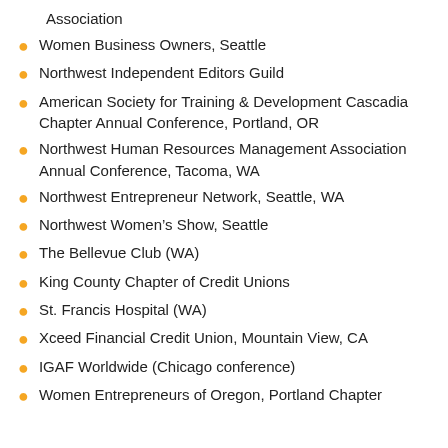Association
Women Business Owners, Seattle
Northwest Independent Editors Guild
American Society for Training & Development Cascadia Chapter Annual Conference, Portland, OR
Northwest Human Resources Management Association Annual Conference, Tacoma, WA
Northwest Entrepreneur Network, Seattle, WA
Northwest Women's Show, Seattle
The Bellevue Club (WA)
King County Chapter of Credit Unions
St. Francis Hospital (WA)
Xceed Financial Credit Union, Mountain View, CA
IGAF Worldwide (Chicago conference)
Women Entrepreneurs of Oregon, Portland Chapter